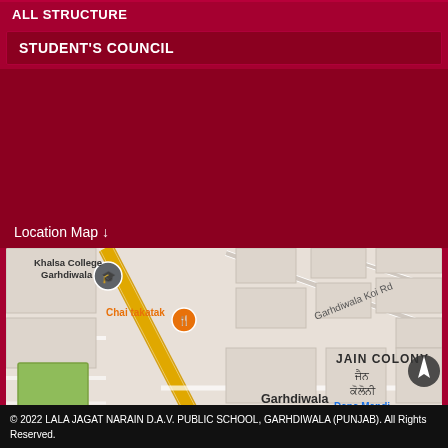ALL STRUCTURE
STUDENT'S COUNCIL
Location Map ↓
[Figure (map): Google Map showing Garhdiwala area with Khalsa College Garhdiwala, Chai takatak, Garhdiwala Koi Rd, JAIN COLONY, Garhdiwala, Dana Mandi, lass Works marked. A yellow road runs diagonally through the map.]
© 2022 LALA JAGAT NARAIN D.A.V. PUBLIC SCHOOL, GARHDIWALA (PUNJAB). All Rights Reserved.